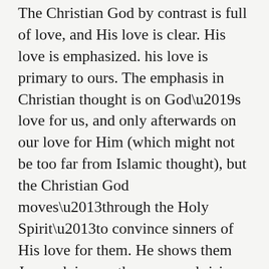The Christian God by contrast is full of love, and His love is clear. His love is emphasized. his love is primary to ours. The emphasis in Christian thought is on God’s love for us, and only afterwards on our love for Him (which might not be too far from Islamic thought), but the Christian God moves–through the Holy Spirit–to convince sinners of His love for them. He shows them Jesus, dying on the cross and rising from the dead, as proof of His love for them.
Are you loving God with your whole being?
If not, you are in trouble. But here is the solution: Believe in God’s love for you!